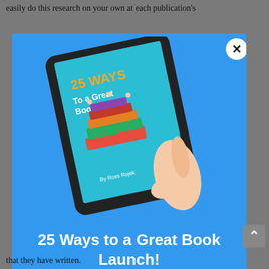easily do this research on your own at each publication's
[Figure (illustration): A modal/popup overlay on a gray webpage background. The modal has a blue background and shows a hand holding a tablet/e-reader displaying a book cover titled '25 Ways to a Great Book Launch' by Ross Rojek. The book cover features stacked colorful books with illustrated people. Below the tablet image, white bold text reads '25 Ways to a Great Book Launch!'. A white circular close button with an X appears in the top-right corner of the modal.]
that they have written.